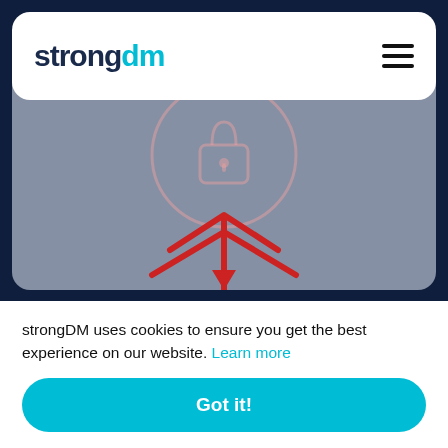[Figure (logo): strongDM logo in navbar with hamburger menu icon]
[Figure (illustration): Top card with security/lock icon illustration in pink/red on grey background, partially visible]
Connect NetIQ Sentinel Log Manager & AWS Secrets Manager
[Figure (illustration): Bottom card with colorful geometric/floral icon (green, purple, orange, yellow) on grey background]
strongDM uses cookies to ensure you get the best experience on our website. Learn more
Got it!